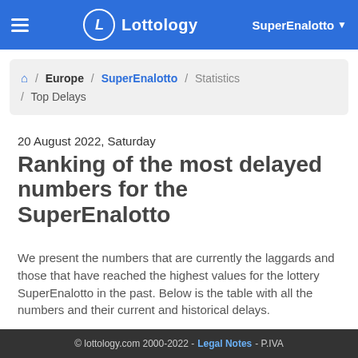Lottology — SuperEnalotto
🏠 / Europe / SuperEnalotto / Statistics / Top Delays
20 August 2022, Saturday
Ranking of the most delayed numbers for the SuperEnalotto
We present the numbers that are currently the laggards and those that have reached the highest values for the lottery SuperEnalotto in the past. Below is the table with all the numbers and their current and historical delays.
Parameters
© lottology.com 2000-2022 - Legal Notes - P.IVA